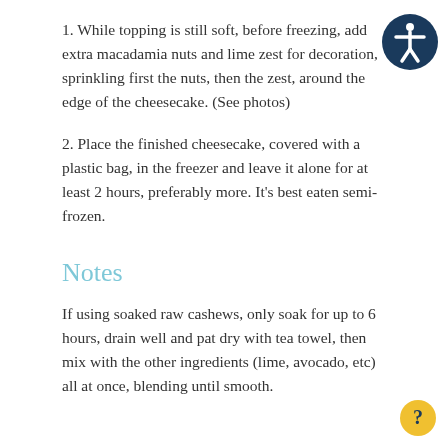1. While topping is still soft, before freezing, add extra macadamia nuts and lime zest for decoration, sprinkling first the nuts, then the zest, around the edge of the cheesecake. (See photos)
2. Place the finished cheesecake, covered with a plastic bag, in the freezer and leave it alone for at least 2 hours, preferably more. It's best eaten semi-frozen.
Notes
If using soaked raw cashews, only soak for up to 6 hours, drain well and pat dry with tea towel, then mix with the other ingredients (lime, avocado, etc) all at once, blending until smooth.